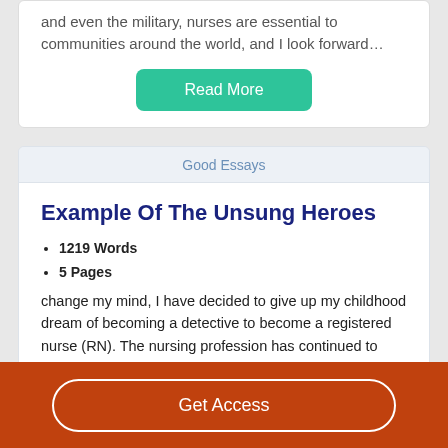and even the military, nurses are essential to communities around the world, and I look forward…
Read More
Good Essays
Example Of The Unsung Heroes
1219 Words
5 Pages
change my mind, I have decided to give up my childhood dream of becoming a detective to become a registered nurse (RN). The nursing profession has continued to thrive over
Get Access